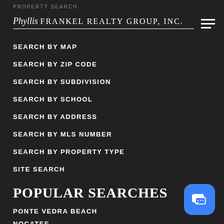PROPERTY SEARCH
Phyllis Frankel Realty Group, Inc.
SEARCH BY MAP
SEARCH BY ZIP CODE
SEARCH BY SUBDIVISION
SEARCH BY SCHOOL
SEARCH BY ADDRESS
SEARCH BY MLS NUMBER
SEARCH BY PROPERTY TYPE
SITE SEARCH
POPULAR SEARCHES
PONTE VEDRA BEACH
NOCATEE